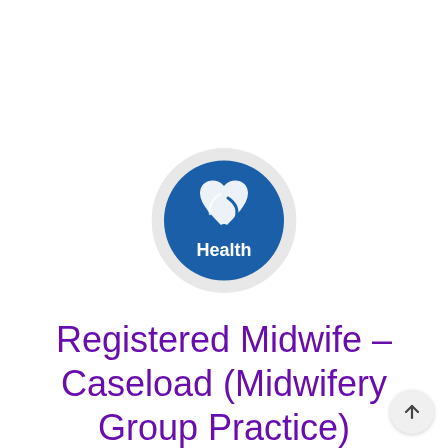[Figure (logo): Circular health organization logo with blue background. A white heart and leaf/stethoscope design in the center, with the word 'Health' in white text below the symbol. The circle has a light gray/white outer ring.]
Registered Midwife – Caseload (Midwifery Group Practice)